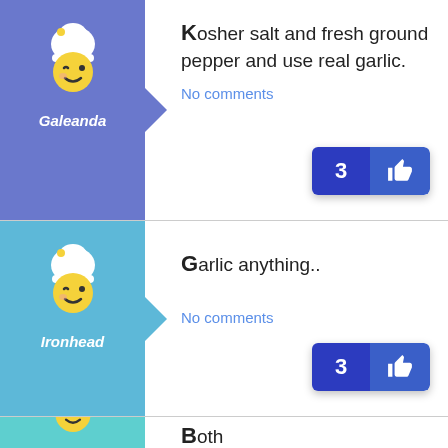[Figure (illustration): Chef mascot avatar with winking face, blue/purple background, username Galeanda]
Kosher salt and fresh ground pepper and use real garlic.
No comments
[Figure (illustration): Like button showing count 3 with thumbs up icon]
[Figure (illustration): Chef mascot avatar with winking face, light blue background, username Ironhead]
Garlic anything..
No comments
[Figure (illustration): Like button showing count 3 with thumbs up icon]
[Figure (illustration): Chef mascot avatar with winking face, teal background, partial row]
Both